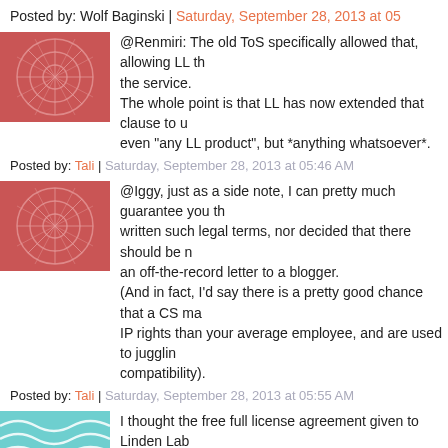Posted by: Wolf Baginski | Saturday, September 28, 2013 at 05...
@Renmiri: The old ToS specifically allowed that, allowing LL th... the service. The whole point is that LL has now extended that clause to u... even "any LL product", but *anything whatsoever*.
Posted by: Tali | Saturday, September 28, 2013 at 05:46 AM
@Iggy, just as a side note, I can pretty much guarantee you th... written such legal terms, nor decided that there should be n... an off-the-record letter to a blogger. (And in fact, I'd say there is a pretty good chance that a CS ma... IP rights than your average employee, and are used to juggli... compatibility).
Posted by: Tali | Saturday, September 28, 2013 at 05:55 AM
I thought the free full license agreement given to Linden Lab only to content uploaded after August 16 (date that the new T... not true? Does it apply to all content uploaded prior to that d...
Posted by: Armany Thursday | Saturday, September 28, 2013 a...